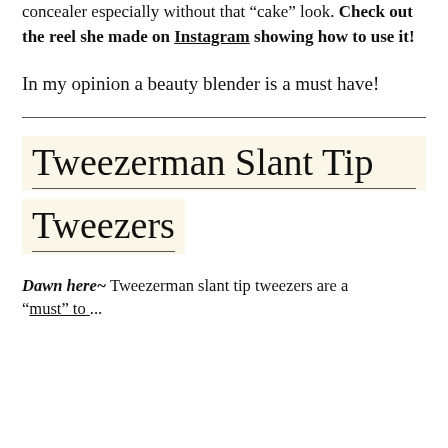concealer especially without that “cake” look. Check out the reel she made on Instagram showing how to use it!
In my opinion a beauty blender is a must have!
Tweezerman Slant Tip Tweezers
Dawn here~ Tweezerman slant tip tweezers are a “must” to... (the text is cut off)